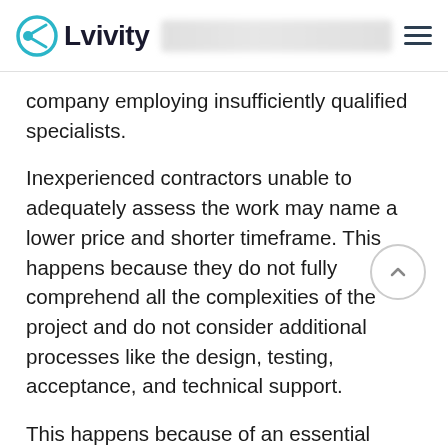Lvivity
company employing insufficiently qualified specialists.
Inexperienced contractors unable to adequately assess the work may name a lower price and shorter timeframe. This happens because they do not fully comprehend all the complexities of the project and do not consider additional processes like the design, testing, acceptance, and technical support.
This happens because of an essential reason–a lack of sufficient knowledge in the field of software design and insufficient experience in developing a system architecture that is ready to scale. When